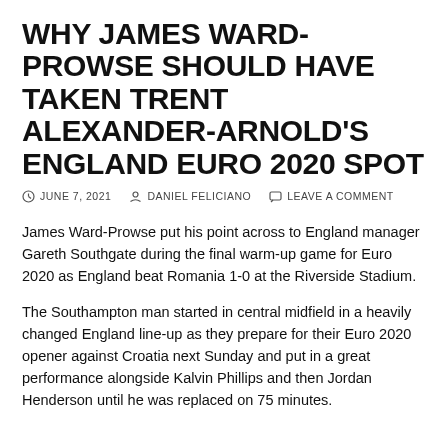WHY JAMES WARD-PROWSE SHOULD HAVE TAKEN TRENT ALEXANDER-ARNOLD'S ENGLAND EURO 2020 SPOT
JUNE 7, 2021   DANIEL FELICIANO   LEAVE A COMMENT
James Ward-Prowse put his point across to England manager Gareth Southgate during the final warm-up game for Euro 2020 as England beat Romania 1-0 at the Riverside Stadium.
The Southampton man started in central midfield in a heavily changed England line-up as they prepare for their Euro 2020 opener against Croatia next Sunday and put in a great performance alongside Kalvin Phillips and then Jordan Henderson until he was replaced on 75 minutes.